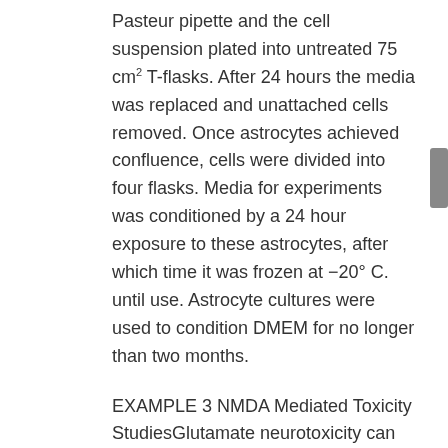Pasteur pipette and the cell suspension plated into untreated 75 cm² T-flasks. After 24 hours the media was replaced and unattached cells removed. Once astrocytes achieved confluence, cells were divided into four flasks. Media for experiments was conditioned by a 24 hour exposure to these astrocytes, after which time it was frozen at −20° C. until use. Astrocyte cultures were used to condition DMEM for no longer than two months.
EXAMPLE 3 NMDA Mediated Toxicity StudiesGlutamate neurotoxicity can be mediated by NMDA, AMPA or kainate receptors. To examine NMDAr mediated toxicity, cultured neurons (cultured for 14-18 days) were exposed to 250 μM glutamate for 10 minutes in a magnesium free saline solution. The saline was composed of 125 mM NaCl, 25 mM glucose, 10 mM HEPES (pH 7.4), 5 mM KCl, 1.8 mM